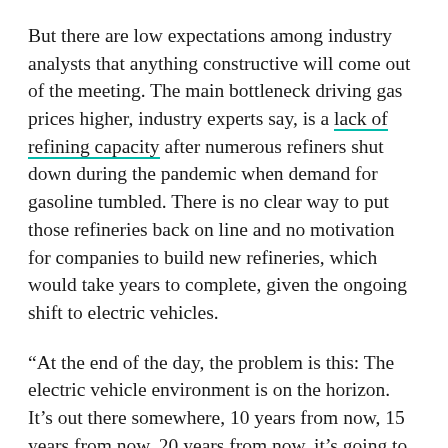But there are low expectations among industry analysts that anything constructive will come out of the meeting. The main bottleneck driving gas prices higher, industry experts say, is a lack of refining capacity after numerous refiners shut down during the pandemic when demand for gasoline tumbled. There is no clear way to put those refineries back on line and no motivation for companies to build new refineries, which would take years to complete, given the ongoing shift to electric vehicles.
“At the end of the day, the problem is this: The electric vehicle environment is on the horizon. It’s out there somewhere, 10 years from now, 15 years from now, 20 years from now, it’s going to happen,” said Bob Yawger, managing director of energy future strategies at Mizuho. “And so, you’re trying to tell these guys that they need to crank it up as they’re drifting into that eventuality? That’s a tough sale, and they’re making money right now